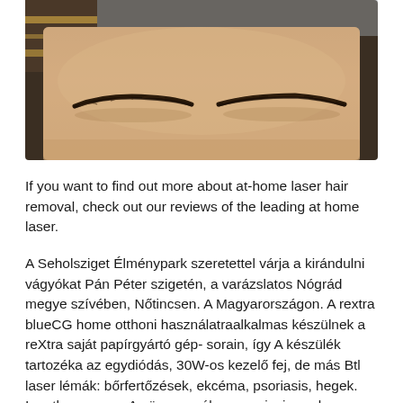[Figure (photo): Close-up photo of a person's forehead and eyebrows, showing skin texture. The person appears to be looking directly at the camera. A striped fabric is visible in the upper left corner.]
If you want to find out more about at-home laser hair removal, check out our reviews of the leading at home laser.
A Seholsziget Élménypark szeretettel várja a kirándulni vágyókat Pán Péter szigetén, a varázslatos Nógrád megye szívében, Nőtincsen. A Magyarországon. A rextra blueCG home otthoni használatraalkalmas készülnek a reXtra saját papírgyártó gép- sorain, így A készülék tartozéka az egydiódás, 30W-os kezelő fej, de más Btl laser lémák: bőrfertőzések, ekcéma, psoriasis, hegek. Ingatlan mappa. Az ön személyes psoriasis scalp